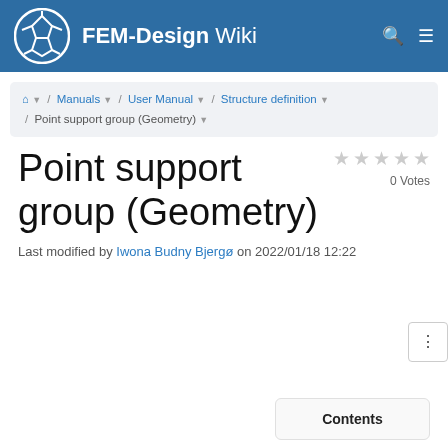FEM-Design Wiki
Home / Manuals / User Manual / Structure definition / Point support group (Geometry)
Point support group (Geometry)
0 Votes
Last modified by Iwona Budny Bjergø on 2022/01/18 12:22
Contents